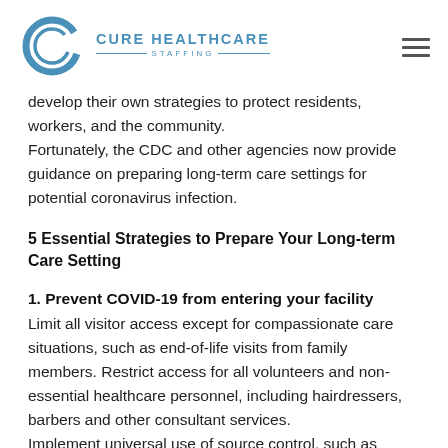CURE HEALTHCARE STAFFING
develop their own strategies to protect residents, workers, and the community.
Fortunately, the CDC and other agencies now provide guidance on preparing long-term care settings for potential coronavirus infection.
5 Essential Strategies to Prepare Your Long-term Care Setting
1. Prevent COVID-19 from entering your facility
Limit all visitor access except for compassionate care situations, such as end-of-life visits from family members. Restrict access for all volunteers and non-essential healthcare personnel, including hairdressers, barbers and other consultant services.
Implement universal use of source control, such as wearing